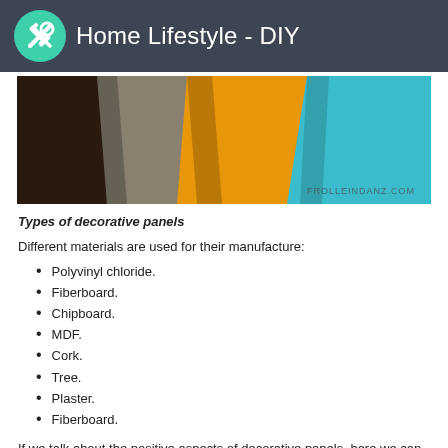Home Lifestyle - DIY
[Figure (photo): Colorful decorative panels stacked at angles showing different surface finishes including orange, teal/turquoise, grey, and dark wood-grain patterns. Watermark reads FROLLEINDANZ.COM]
Types of decorative panels
Different materials are used for their manufacture:
Polyvinyl chloride.
Fiberboard.
Chipboard.
MDF.
Cork.
Tree.
Plaster.
Fiberboard.
If we talk about the positive aspects of decorative panels, here we can highlight the following: